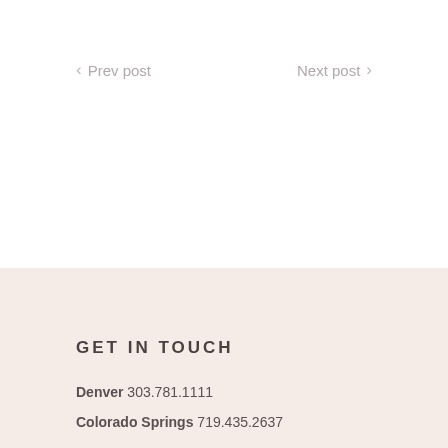< Prev post
Next post >
GET IN TOUCH
Denver 303.781.1111
Colorado Springs 719.435.2637